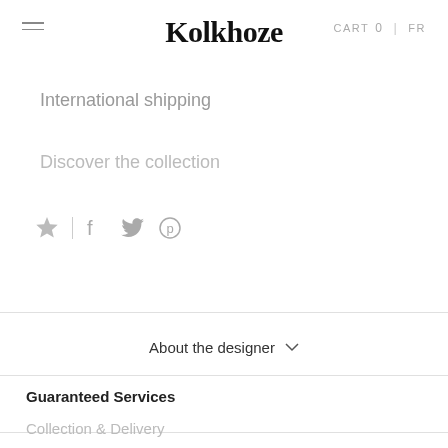Kolkhoze  CART 0 | FR
International shipping
Discover the collection
[Figure (other): Social sharing icons: star (favorite), vertical divider, Facebook, Twitter, Pinterest]
About the designer
Guaranteed Services
Collection & Delivery